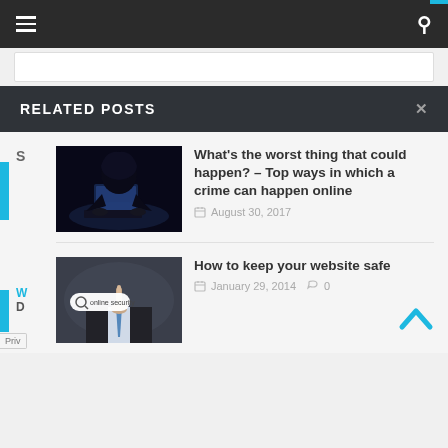Navigation bar with hamburger menu and search icon
RELATED POSTS
[Figure (photo): Hooded hacker figure in dark using a laptop]
What's the worst thing that could happen? – Top ways in which a crime can happen online
August 30, 2017
[Figure (photo): Business person pointing at online security search bubble]
How to keep your website safe
January 29, 2014  0